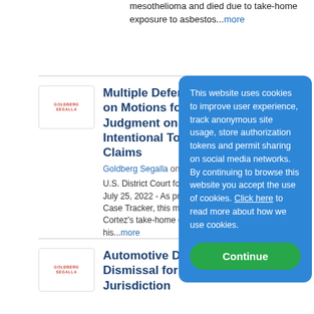mesothelioma and died due to take-home exposure to asbestos...more
[Figure (logo): Goldberg Segalla logo — red text on white background in a bordered box]
Multiple Defendants Prevail on Motions for Summary Judgment on Plaintiffs' Intentional Tort Claims
Goldberg Segalla on 7/27/2...
U.S. District Court for the E... July 25, 2022 - As previously... Case Tracker, this matter ste... Cortez's take-home exposur... his...more
[Figure (logo): Goldberg Segalla logo — red text on white background in a bordered box]
Automotive Defendant Wins Dismissal for Lack of Jurisdiction
This website uses cookies to improve user experience, track anonymous site usage, store authorization tokens and permit sharing on social media networks. By continuing to browse this website you accept the use of cookies. Click here to read more about how we use cookies.
Continue